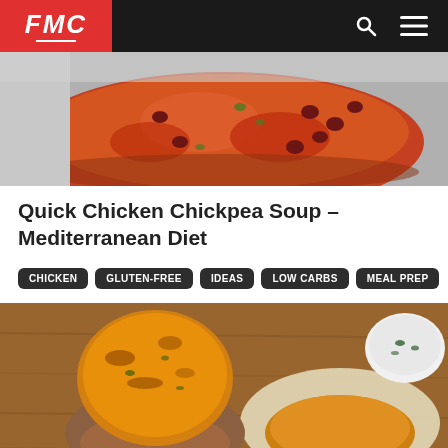FMC
[Figure (photo): Overhead photo of a bowl of chicken chickpea soup with tomato broth, kidney beans, and vegetables on a light gray surface]
Quick Chicken Chickpea Soup – Mediterranean Diet
CHICKEN
GLUTEN-FREE
IDEAS
LOW CARBS
MEAL PREP
[Figure (photo): Close-up of a hand holding a golden butternut squash fritter, with more fritters wrapped in parchment paper on a wooden board and a dipping sauce in background]
Butternut Squash Fritters